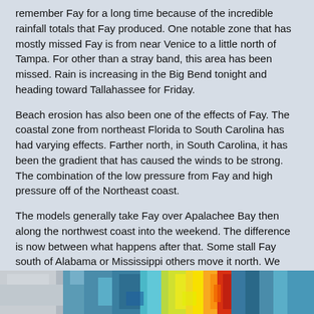remember Fay for a long time because of the incredible rainfall totals that Fay produced. One notable zone that has mostly missed Fay is from near Venice to a little north of Tampa. For other than a stray band, this area has been missed. Rain is increasing in the Big Bend tonight and heading toward Tallahassee for Friday.
Beach erosion has also been one of the effects of Fay. The coastal zone from northeast Florida to South Carolina has had varying effects. Farther north, in South Carolina, it has been the gradient that has caused the winds to be strong. The combination of the low pressure from Fay and high pressure off of the Northeast coast.
The models generally take Fay over Apalachee Bay then along the northwest coast into the weekend. The difference is now between what happens after that. Some stall Fay south of Alabama or Mississippi others move it north. We don't have a strong opinion on the next phase yet. It's interesting to note that we dissed our favorite models a bit yesterday, but it looks like they did pretty well after all. NHC and the rest of the models moved closer to our solution bringing Fay down along the coast.
Next...landfall #4 on Dog Island Friday????
[Figure (photo): Satellite or radar image showing Hurricane Fay, with blue, yellow, green, and red color bands indicating rainfall/storm intensity over the Gulf Coast region.]